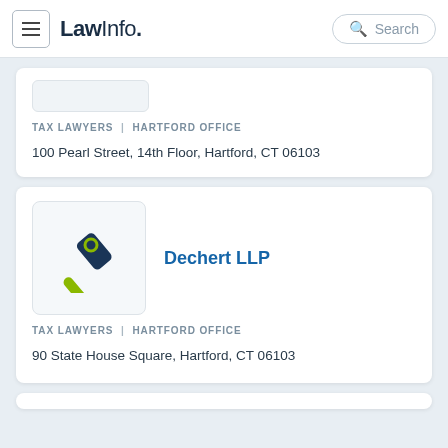LawInfo. Search
TAX LAWYERS | HARTFORD OFFICE
100 Pearl Street, 14th Floor, Hartford, CT 06103
[Figure (logo): Gavel/hammer icon logo for law firm]
Dechert LLP
TAX LAWYERS | HARTFORD OFFICE
90 State House Square, Hartford, CT 06103